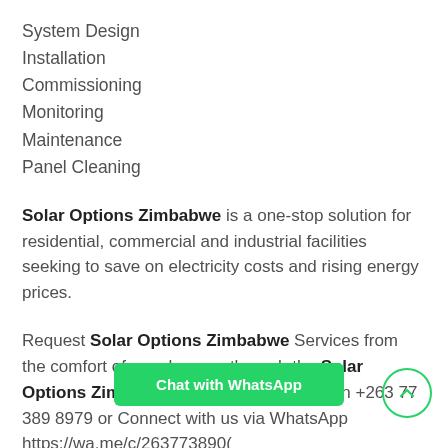System Design
Installation
Commissioning
Monitoring
Maintenance
Panel Cleaning
Solar Options Zimbabwe is a one-stop solution for residential, commercial and industrial facilities seeking to save on electricity costs and rising energy prices.
Request Solar Options Zimbabwe Services from the comfort of your home – through the Solar Options Zimbabwe WhatsApp Number: on +263 77 389 8979 or Connect with us via WhatsApp https://wa.me/c/263773898... (Catalogue.)